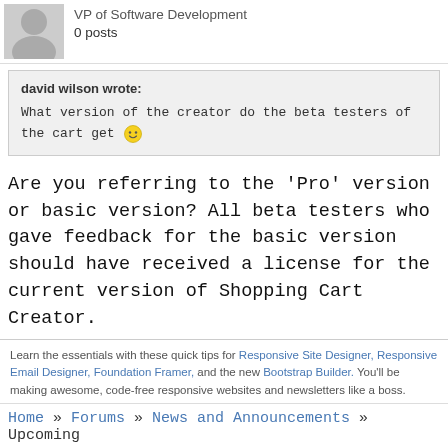VP of Software Development
0 posts
david wilson wrote:
What version of the creator do the beta testers of the cart get :)
Are you referring to the 'Pro' version or basic version? All beta testers who gave feedback for the basic version should have received a license for the current version of Shopping Cart Creator.
Learn the essentials with these quick tips for Responsive Site Designer, Responsive Email Designer, Foundation Framer, and the new Bootstrap Builder. You'll be making awesome, code-free responsive websites and newsletters like a boss.
Home » Forums » News and Announcements » Upcoming